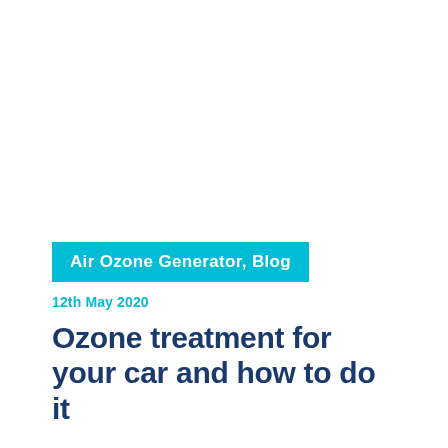Air Ozone Generator, Blog
12th May 2020
Ozone treatment for your car and how to do it
Regular methods of cleaning and deodorizing as a treatment for vehicles are not always enough. Some odours in vehicles are difficult to remove because the chemical compounds get into the upholstery and